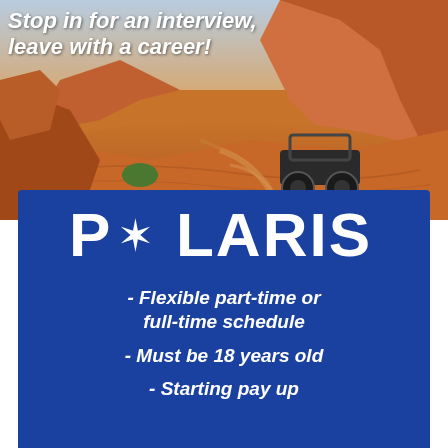[Figure (photo): Desert scene with orange/red sand dunes and rock formations, an ATV/side-by-side vehicle driving through sand, with text overlay 'Stop in for an interview, leave with a career!']
Stop in for an interview, leave with a career!
[Figure (logo): Polaris logo in white on blue background]
- Flexible part-time or full-time schedule
- Must be 18 years old
- Starting pay up